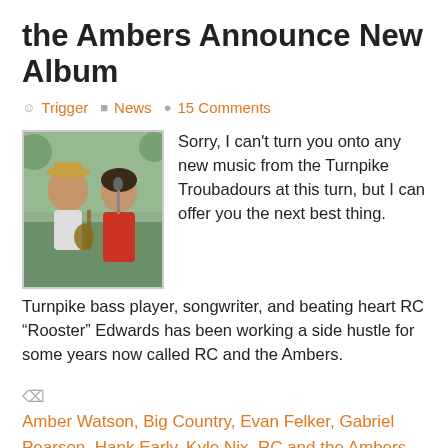the Ambers Announce New Album
Trigger  News  15 Comments
[Figure (photo): Two musicians performing outdoors: a man in a cowboy hat playing guitar on the left, and a woman in a red dress singing into a microphone on the right.]
Sorry, I can't turn you onto any new music from the Turnpike Troubadours at this turn, but I can offer you the next best thing. Turnpike bass player, songwriter, and beating heart RC “Rooster” Edwards has been working a side hustle for some years now called RC and the Ambers.
Amber Watson, Big Country, Evan Felker, Gabriel Pearson, Hank Early, Kyle Nix, RC and the Ambers, RC Edwards, Turnpike Troubadours